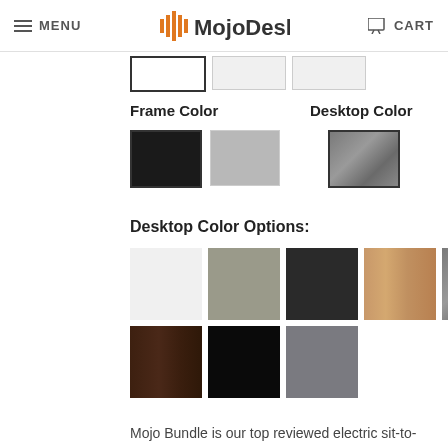MENU | MojoDesk | CART
Frame Color
Desktop Color
Desktop Color Options:
Mojo Bundle is our top reviewed electric sit-to-stand desk bundled with 2 cable management accessories (MagicSnap Cable